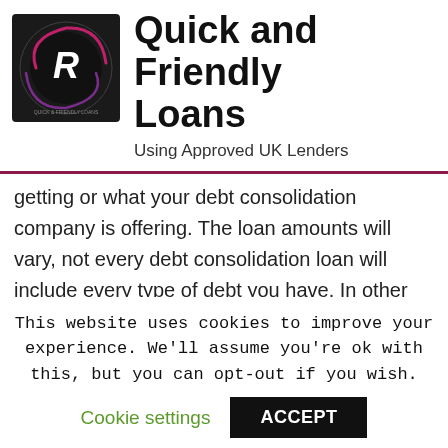[Figure (logo): Quick and Friendly Loans logo — circular emblem on dark background with stylized R letter and purple/pink swirl elements, with small text around the circle]
Quick and Friendly Loans
Using Approved UK Lenders
getting or what your debt consolidation company is offering. The loan amounts will vary, not every debt consolidation loan will include every type of debt you have. In other words, you must choose a loan that takes care of all your debts.

It would be unwise to have one or two debts taken
This website uses cookies to improve your experience. We'll assume you're ok with this, but you can opt-out if you wish.
Cookie settings    ACCEPT